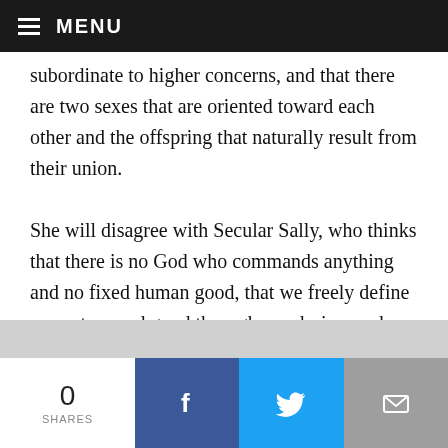MENU
subordinate to higher concerns, and that there are two sexes that are oriented toward each other and the offspring that naturally result from their union.

She will disagree with Secular Sally, who thinks that there is no God who commands anything and no fixed human good, that we freely define our nature and good through our desires and choices, and that freedom of self-creation is what gives us dignity. Sally will naturally want the schools to promote this very different understanding and encourage students to accept their radical autonomy. In
0 SHARES